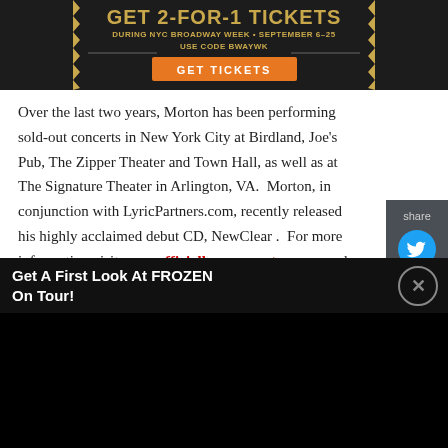[Figure (screenshot): Advertisement banner: GET 2-FOR-1 TICKETS DURING NYC BROADWAY WEEK · SEPTEMBER 6-25, USE CODE BWAYWK, GET TICKETS button]
Over the last two years, Morton has been performing sold-out concerts in New York City at Birdland, Joe's Pub, The Zipper Theater and Town Hall, as well as at The Signature Theater in Arlington, VA. Morton, in conjunction with LyricPartners.com, recently released his highly acclaimed debut CD, NewClear. For more information visit www.officiallyeuanmorton.com and www.birdlandjazz.com.
There is a $30 cover, plus a $10 food/drink minimum. Call 212-581-3080 or visit www.InstantSeats.com/Birdland.
[Figure (screenshot): Bottom advertisement bar: Get A First Look At FROZEN On Tour! with close button]
[Figure (screenshot): Black bottom region / video player area]